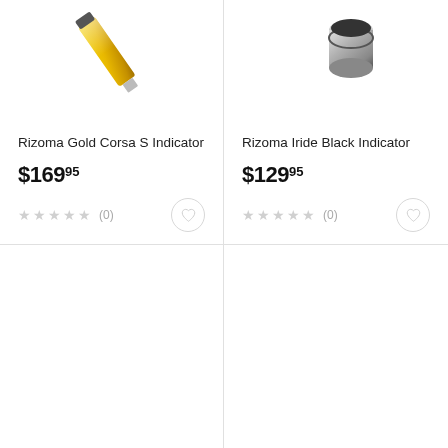[Figure (photo): Rizoma Gold Corsa S Indicator product photo, partially cropped at top]
Rizoma Gold Corsa S Indicator
$169.95
(0)
[Figure (photo): Rizoma Iride Black Indicator product photo, partially cropped at top]
Rizoma Iride Black Indicator
$129.95
(0)